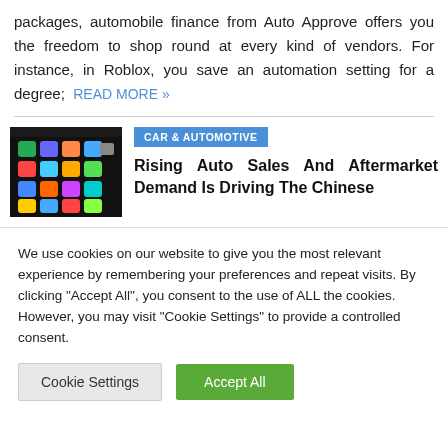packages, automobile finance from Auto Approve offers you the freedom to shop round at every kind of vendors. For instance, in Roblox, you save an automation setting for a degree;  READ MORE »
[Figure (photo): A smartphone screen showing a grid of app icons on a dark background]
CAR & AUTOMOTIVE
Rising Auto Sales And Aftermarket Demand Is Driving The Chinese
We use cookies on our website to give you the most relevant experience by remembering your preferences and repeat visits. By clicking "Accept All", you consent to the use of ALL the cookies. However, you may visit "Cookie Settings" to provide a controlled consent.